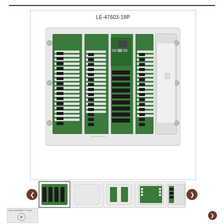[Figure (photo): LE-47603-18P circuit board / panel assembly shown in main view — a green PCB with multiple relay/connector modules mounted in a white plastic enclosure frame, with black terminal blocks and connectors. Label 'LE-47603-18P' shown above the image.]
[Figure (photo): Thumbnail strip with 5 thumbnail images of the LE-47603-18P product from various angles, flanked by left and right navigation arrows (dark brown circular buttons).]
[Figure (photo): Bottom row showing a video thumbnail labeled 'Structured Media Center' with a play button, and a right navigation button.]